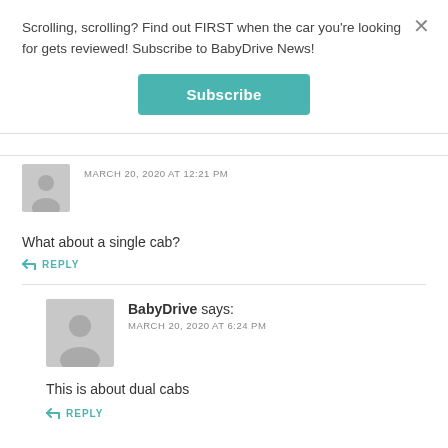Scrolling, scrolling? Find out FIRST when the car you're looking for gets reviewed! Subscribe to BabyDrive News!
Subscribe
MARCH 20, 2020 AT 12:21 PM
What about a single cab?
REPLY
BabyDrive says:
MARCH 20, 2020 AT 6:24 PM
This is about dual cabs
REPLY